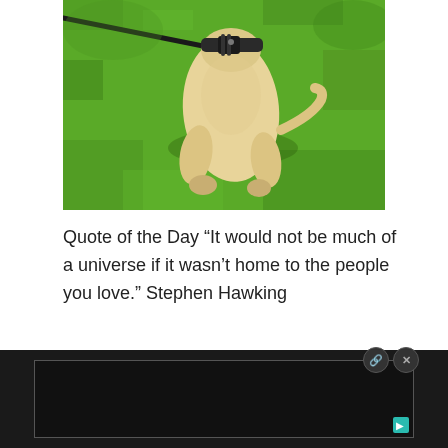[Figure (photo): A yellow Labrador dog seen from above, wearing a black harness/collar with a leash, lying or crouching on bright green grass. The dog's head is not visible, showing mainly the dog's back, hindquarters, and paws.]
Quote of the Day “It would not be much of a universe if it wasn’t home to the people you love.” Stephen Hawking
[Figure (screenshot): A dark advertisement bar at the bottom of the screen with a bordered rectangular ad unit, two small circular buttons (a teal search/link icon and an X close button) in the top-right of the ad, and a small teal icon in the bottom-right corner.]